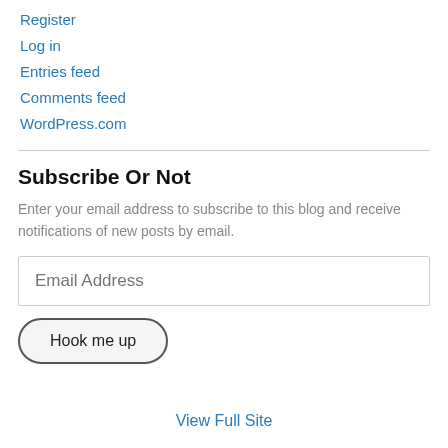Register
Log in
Entries feed
Comments feed
WordPress.com
Subscribe Or Not
Enter your email address to subscribe to this blog and receive notifications of new posts by email.
Email Address
Hook me up
View Full Site